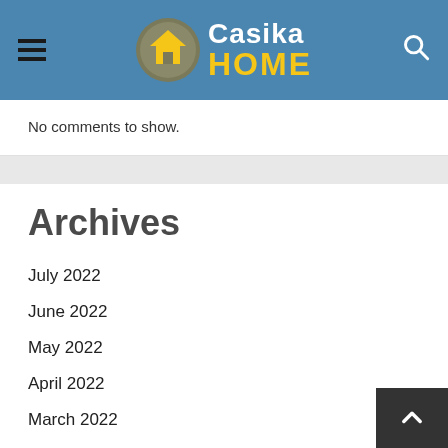Casika HOME
No comments to show.
Archives
July 2022
June 2022
May 2022
April 2022
March 2022
December 2021
October 2021
September 2021
August 2021
July 2021